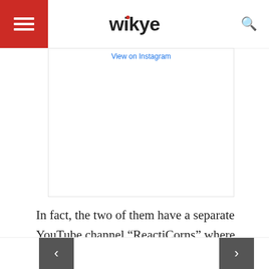wikye
[Figure (screenshot): Instagram embed placeholder with 'View on Instagram' link]
In fact, the two of them have a separate YouTube channel “ReactiCorns” where they take on different challenges, make reaction videos, etc.
Apart from her official channel “Wengie”